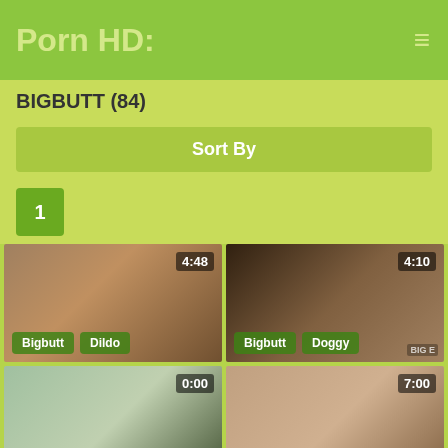Porn HD:
BIGBUTT (84)
Sort By
1
[Figure (screenshot): Video thumbnail showing duration 4:48, tags: Bigbutt, Dildo]
[Figure (screenshot): Video thumbnail showing duration 4:10, tags: Bigbutt, Doggy]
[Figure (screenshot): Video thumbnail showing duration 0:00]
[Figure (screenshot): Video thumbnail showing duration 7:00]